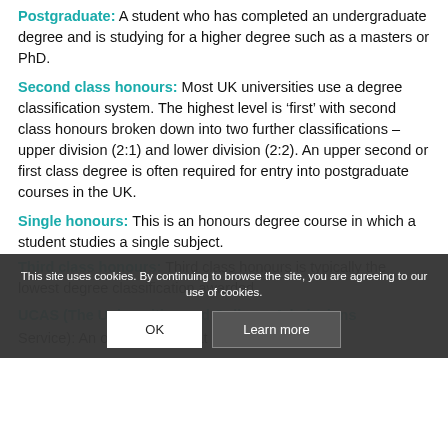Postgraduate: A student who has completed an undergraduate degree and is studying for a higher degree such as a masters or PhD.
Second class honours: Most UK universities use a degree classification system. The highest level is ‘first’ with second class honours broken down into two further classifications – upper division (2:1) and lower division (2:2). An upper second or first class degree is often required for entry into postgraduate courses in the UK.
Single honours: This is an honours degree course in which a student studies a single subject.
Third class honours: Third class honours is typically the lowest degree classification awarded.
UCAS (The Universities and Colleges Admissions Service): An organisation that manages applications...
Cookie banner: This site uses cookies. By continuing to browse the site, you are agreeing to our use of cookies.